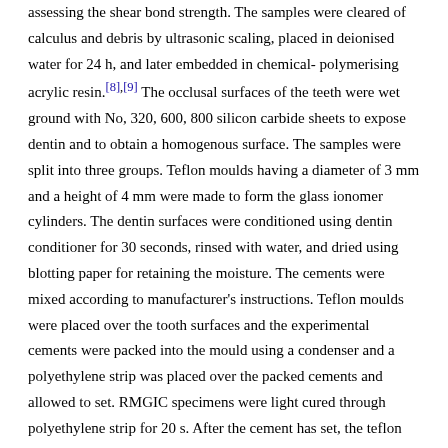assessing the shear bond strength. The samples were cleared of calculus and debris by ultrasonic scaling, placed in deionised water for 24 h, and later embedded in chemical- polymerising acrylic resin.[8],[9] The occlusal surfaces of the teeth were wet ground with No, 320, 600, 800 silicon carbide sheets to expose dentin and to obtain a homogenous surface. The samples were split into three groups. Teflon moulds having a diameter of 3 mm and a height of 4 mm were made to form the glass ionomer cylinders. The dentin surfaces were conditioned using dentin conditioner for 30 seconds, rinsed with water, and dried using blotting paper for retaining the moisture. The cements were mixed according to manufacturer's instructions. Teflon moulds were placed over the tooth surfaces and the experimental cements were packed into the mould using a condenser and a polyethylene strip was placed over the packed cements and allowed to set. RMGIC specimens were light cured through polyethylene strip for 20 s. After the cement has set, the teflon moulds were removed and the samples were kept in deionised water at a temperature of 37°C at 100% humidity for 24 h. Samples were subjected to the steel wedge-shaped blade of the universal testing machine at crosshead speed 0.5 mm per minute.[8],[9],[10],[11] Shear bond strength values were measured in units of MPa.